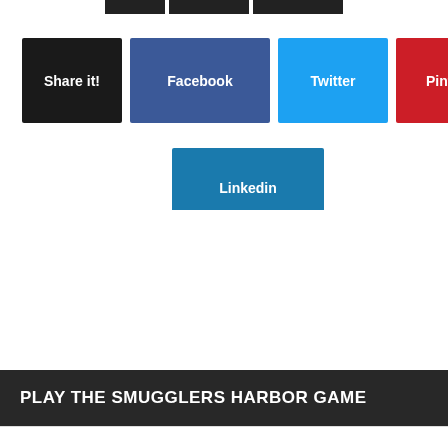[Figure (screenshot): Social sharing buttons: Share it! (black), Facebook (dark blue), Twitter (light blue), Pinterest (red), Linkedin (steel blue)]
PLAY THE SMUGGLERS HARBOR GAME